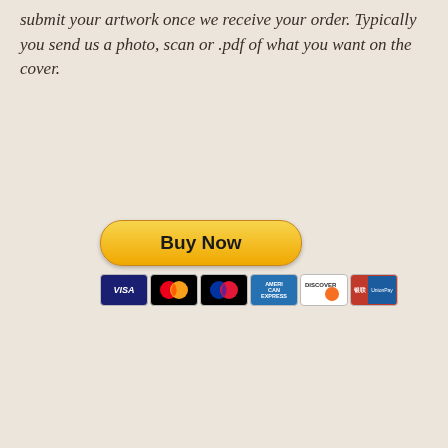submit your artwork once we receive your order. Typically you send us a photo, scan or .pdf of what you want on the cover.
[Figure (other): PayPal 'Buy Now' button with payment card icons below (Visa, Mastercard, another card, American Express, Discover, and a sixth card)]